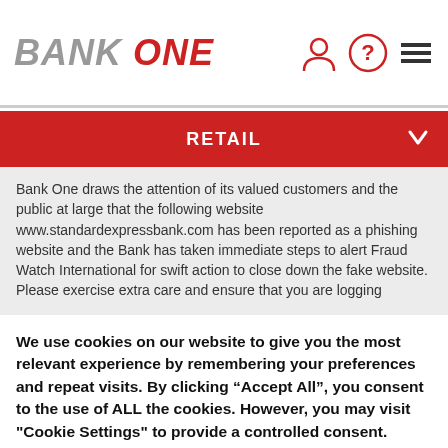BANK ONE
RETAIL
Bank One draws the attention of its valued customers and the public at large that the following website www.standardexpressbank.com has been reported as a phishing website and the Bank has taken immediate steps to alert Fraud Watch International for swift action to close down the fake website.
Please exercise extra care and ensure that you are logging
We use cookies on our website to give you the most relevant experience by remembering your preferences and repeat visits. By clicking “Accept All”, you consent to the use of ALL the cookies. However, you may visit "Cookie Settings" to provide a controlled consent.
Cookie Settings
Accept All